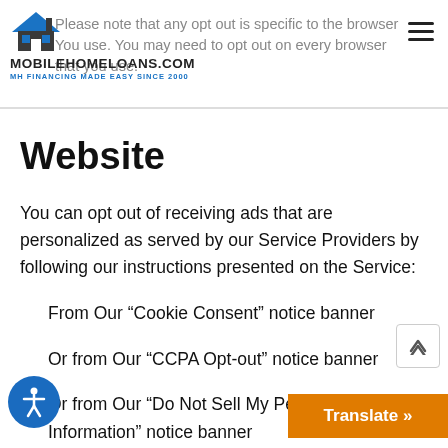Please note that any opt out is specific to the browser You use. You may need to opt out on every browser that you use.
[Figure (logo): MobileHomeLoans.com logo with house icon, text MOBILEHOMELOANS.COM and tagline MH FINANCING MADE EASY SINCE 2000]
Website
You can opt out of receiving ads that are personalized as served by our Service Providers by following our instructions presented on the Service:
From Our “Cookie Consent” notice banner
Or from Our “CCPA Opt-out” notice banner
Or from Our “Do Not Sell My Personal Information” notice banner
Or from Our “Do Not Sell My P…